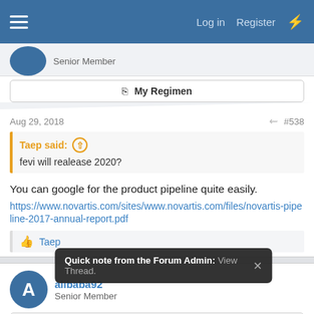Log in  Register
Senior Member
My Regimen
Aug 29, 2018  #538
Taep said: fevi will realease 2020?
You can google for the product pipeline quite easily.
https://www.novartis.com/sites/www.novartis.com/files/novartis-pipeline-2017-annual-report.pdf
Taep
alibaba92
Senior Member
Quick note from the Forum Admin: View Thread.